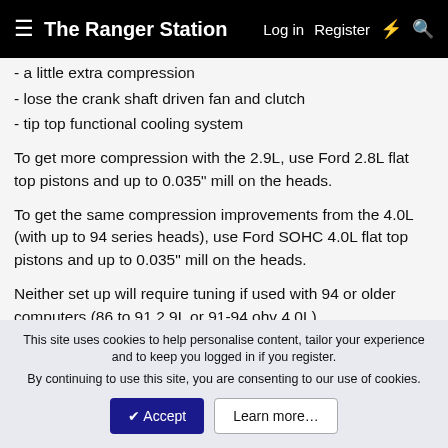The Ranger Station  Log in  Register
- a little extra compression
- lose the crank shaft driven fan and clutch
- tip top functional cooling system
To get more compression with the 2.9L, use Ford 2.8L flat top pistons and up to 0.035" mill on the heads.
To get the same compression improvements from the 4.0L (with up to 94 series heads), use Ford SOHC 4.0L flat top pistons and up to 0.035" mill on the heads.
Neither set up will require tuning if used with 94 or older computers (86 to 91 2.9L or 91-94 ohv 4.0L).
Both engines appreciate not spinning that archaic fan and
This site uses cookies to help personalise content, tailor your experience and to keep you logged in if you register.
By continuing to use this site, you are consenting to our use of cookies.